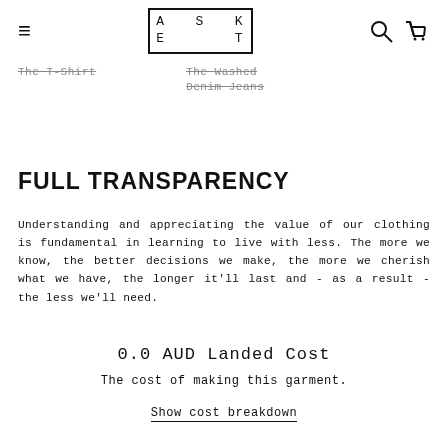ASKET (logo) — navigation bar with menu, logo, search and cart icons
The T-Shirt   The Washed Denim Jeans
FULL TRANSPARENCY
Understanding and appreciating the value of our clothing is fundamental in learning to live with less. The more we know, the better decisions we make, the more we cherish what we have, the longer it'll last and - as a result - the less we'll need.
0.0 AUD Landed Cost
The cost of making this garment.
Show cost breakdown